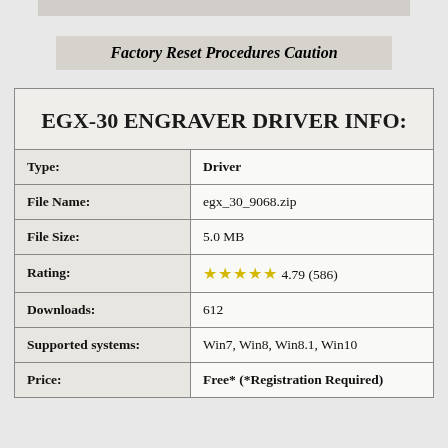Factory Reset Procedures Caution
|  |  |
| --- | --- |
| EGX-30 ENGRAVER DRIVER INFO: |  |
| Type: | Driver |
| File Name: | egx_30_9068.zip |
| File Size: | 5.0 MB |
| Rating: | ★★★★★ 4.79 (586) |
| Downloads: | 612 |
| Supported systems: | Win7, Win8, Win8.1, Win10 |
| Price: | Free* (*Registration Required) |